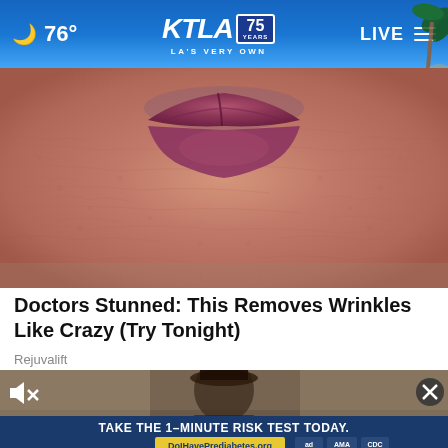🌙 76° | KTLA 75 YEARS LA'S VERY OWN | LIVE
[Figure (photo): Close-up photograph of elderly person's mouth area showing wrinkled skin and lips]
Doctors Stunned: This Removes Wrinkles Like Crazy (Try Tonight)
Rejuvalift
[Figure (screenshot): Video thumbnail showing a person, with mute icon and close (X) button overlay, and a prediabetes ad banner at the bottom reading TAKE THE 1-MINUTE RISK TEST TODAY. DolHavePrediabetes.org with ad council, AMA, and CDC logos]